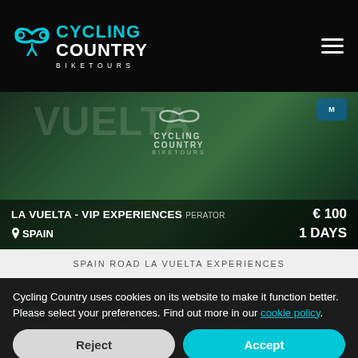Cycling Country Bike Tours — navigation header with logo and hamburger menu
[Figure (screenshot): Banner image for La Vuelta VIP Experiences tour showing cycling event imagery with dark overlay, price €100, duration 1 Days, location Spain]
SPAIN ROAD LA VUELTA EXPERIENCES
[Figure (logo): Partner logos: Cycling Country, Andalucía, Santini, Visit Portugal on dark background]
Cycling Country uses cookies on its website to make it function better. Please select your preferences. Find out more in our cookie policy.
Reject
Accept
Settings